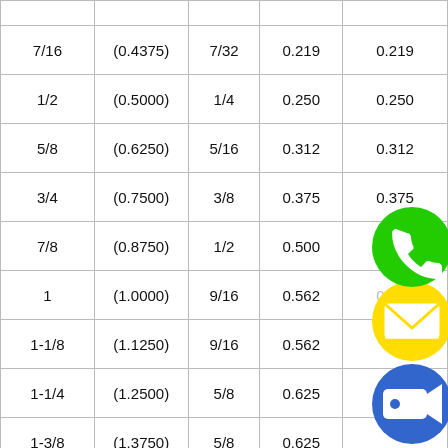|  |  |  |  |  |
| --- | --- | --- | --- | --- |
| 7/16 | (0.4375) | 7/32 | 0.219 | 0.219 |
| 1/2 | (0.5000) | 1/4 | 0.250 | 0.250 |
| 5/8 | (0.6250) | 5/16 | 0.312 | 0.312 |
| 3/4 | (0.7500) | 3/8 | 0.375 | 0.375 |
| 7/8 | (0.8750) | 1/2 | 0.500 |  |
| 1 | (1.0000) | 9/16 | 0.562 | 0.562 |
| 1-1/8 | (1.1250) | 9/16 | 0.562 |  |
| 1-1/4 | (1.2500) | 5/8 | 0.625 |  |
| 1-3/8 | (1.3750) | 5/8 | 0.625 |  |
| 1-1/2 | (1.5000) | 3/4 | 0.750 |  |
| 1-3/4 | (1.7500) | 1 | 1.000 | 1.000 |